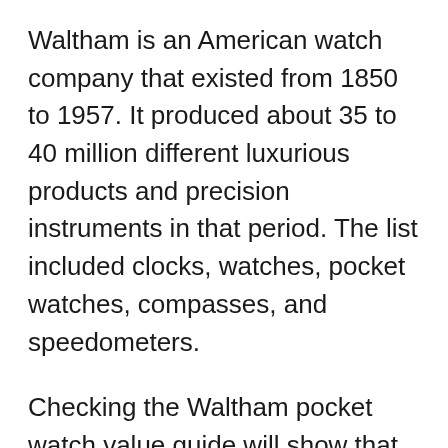Waltham is an American watch company that existed from 1850 to 1957. It produced about 35 to 40 million different luxurious products and precision instruments in that period. The list included clocks, watches, pocket watches, compasses, and speedometers.
Checking the Waltham pocket watch value guide will show that their products' value depends on their size, age, and materials, including diamonds and precious metals. Since these pocket watches are considered antique or vintage, they are highly collectible and expensive nowadays.